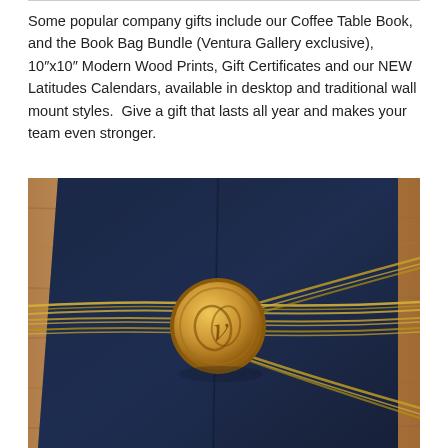Some popular company gifts include our Coffee Table Book, and the Book Bag Bundle (Ventura Gallery exclusive), 10"x10" Modern Wood Prints, Gift Certificates and our NEW Latitudes Calendars, available in desktop and traditional wall mount styles.  Give a gift that lasts all year and makes your team even stronger.
[Figure (photo): A dark navy blue book or folder tied with gold metallic cord/ribbon, sealed with a round gold wax seal embossed with a decorative monogram or logo, resting on a warm wooden surface.]